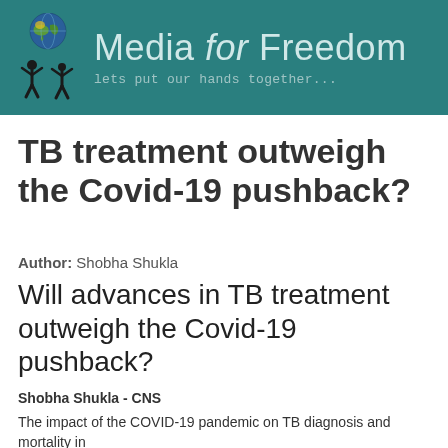[Figure (logo): Media for Freedom website header banner with globe/people logo, site title 'Media for Freedom' and tagline 'lets put our hands together...' on teal background]
TB treatment outweigh the Covid-19 pushback?
Author: Shobha Shukla
Will advances in TB treatment outweigh the Covid-19 pushback?
Shobha Shukla - CNS
The impact of the COVID-19 pandemic on TB diagnosis and mortality in